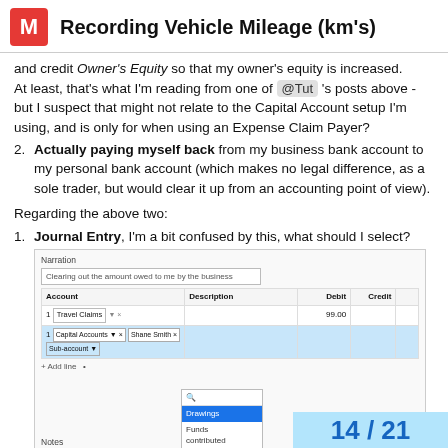Recording Vehicle Mileage (km's)
and credit Owner's Equity so that my owner's equity is increased. At least, that's what I'm reading from one of @Tut 's posts above - but I suspect that might not relate to the Capital Account setup I'm using, and is only for when using an Expense Claim Payer?
2. Actually paying myself back from my business bank account to my personal bank account (which makes no legal difference, as a sole trader, but would clear it up from an accounting point of view).
Regarding the above two:
1. Journal Entry, I'm a bit confused by this, what should I select?
[Figure (screenshot): Screenshot of an accounting journal entry form showing Narration field with 'Clearing out the amount owed to me by the business', a table with Account, Description, Debit, Credit columns. Row 1: Travel Claims, 99.00. Row 2: Capital Accounts, Shane Smith, with a dropdown showing Drawings, Funds contributed options.]
14 / 21